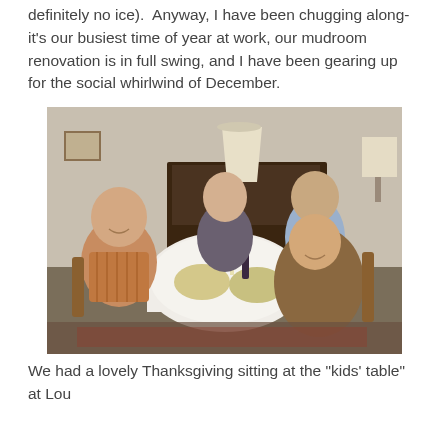definitely no ice).  Anyway, I have been chugging along- it's our busiest time of year at work, our mudroom renovation is in full swing, and I have been gearing up for the social whirlwind of December.
[Figure (photo): Four young adults sitting around a small dining table set for a meal, smiling at the camera. The room has warm lighting with a lamp in the background, a dark wood sideboard, and holiday table settings. Two men and two women seated around a white tablecloth-covered table with food and candles.]
We had a lovely Thanksgiving sitting at the "kids' table" at Lou